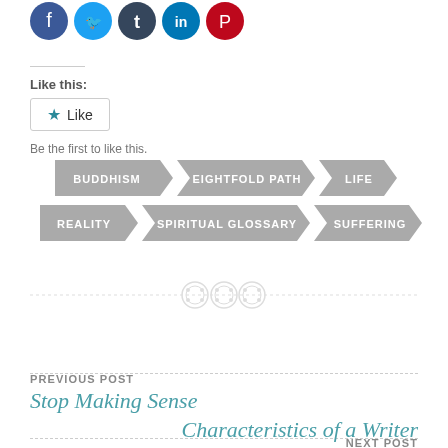[Figure (other): Social media sharing icons: Facebook (blue), Twitter (light blue), Tumblr (dark blue), LinkedIn (blue), Pinterest (red), all circular]
Like this:
[Figure (other): Like button widget with star icon]
Be the first to like this.
[Figure (other): Tag arrow buttons in two rows: BUDDHISM, EIGHTFOLD PATH, LIFE (row 1); REALITY, SPIRITUAL GLOSSARY, SUFFERING (row 2)]
[Figure (other): Decorative horizontal divider with three button/circle icons in center]
PREVIOUS POST
Stop Making Sense
NEXT POST
Characteristics of a Writer